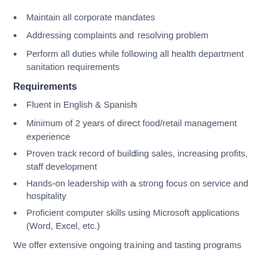Maintain all corporate mandates
Addressing complaints and resolving problem
Perform all duties while following all health department sanitation requirements
Requirements
Fluent in English & Spanish
Minimum of 2 years of direct food/retail management experience
Proven track record of building sales, increasing profits, staff development
Hands-on leadership with a strong focus on service and hospitality
Proficient computer skills using Microsoft applications (Word, Excel, etc.)
We offer extensive ongoing training and tasting programs